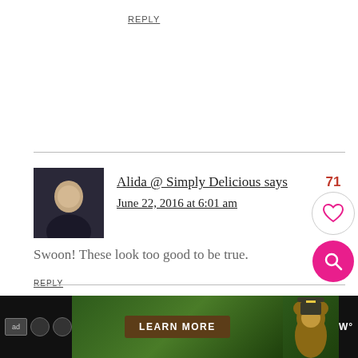REPLY
Alida @ Simply Delicious says
June 22, 2016 at 6:01 am
Swoon! These look too good to be true.
REPLY
Demeter | Beaming Baker says
June 22, 2016 at 6:58 am
[Figure (screenshot): Advertisement bar at bottom with LEARN MORE button and Smokey Bear mascot]
LEARN MORE